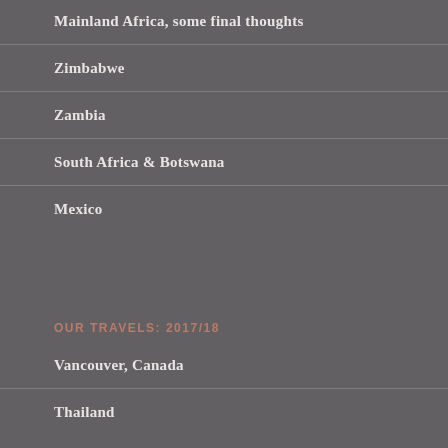Mainland Africa, some final thoughts
Zimbabwe
Zambia
South Africa & Botswana
Mexico
OUR TRAVELS: 2017/18
Vancouver, Canada
Thailand